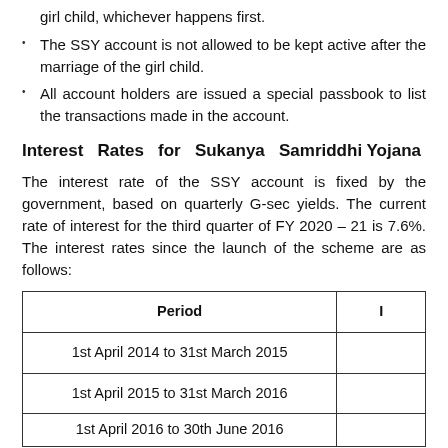girl child, whichever happens first.
The SSY account is not allowed to be kept active after the marriage of the girl child.
All account holders are issued a special passbook to list the transactions made in the account.
Interest Rates for Sukanya Samriddhi Yojana
The interest rate of the SSY account is fixed by the government, based on quarterly G-sec yields. The current rate of interest for the third quarter of FY 2020 – 21 is 7.6%. The interest rates since the launch of the scheme are as follows:
| Period | I |
| --- | --- |
| 1st April 2014 to 31st March 2015 |  |
| 1st April 2015 to 31st March 2016 |  |
| 1st April 2016 to 30th June 2016 |  |